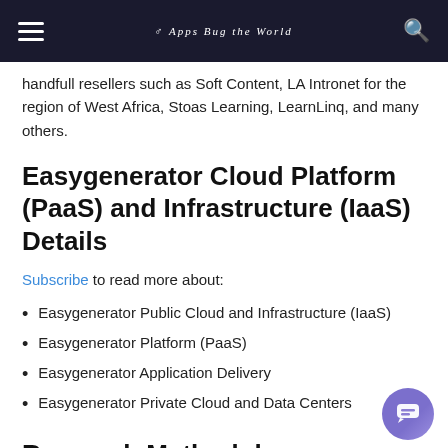Apps Bug the World
handfull resellers such as Soft Content, LA Intronet for the region of West Africa, Stoas Learning, LearnLinq, and many others.
Easygenerator Cloud Platform (PaaS) and Infrastructure (IaaS) Details
Subscribe to read more about:
Easygenerator Public Cloud and Infrastructure (IaaS)
Easygenerator Platform (PaaS)
Easygenerator Application Delivery
Easygenerator Private Cloud and Data Centers
Research Methodology
Data used in research reports are derived from publicly available